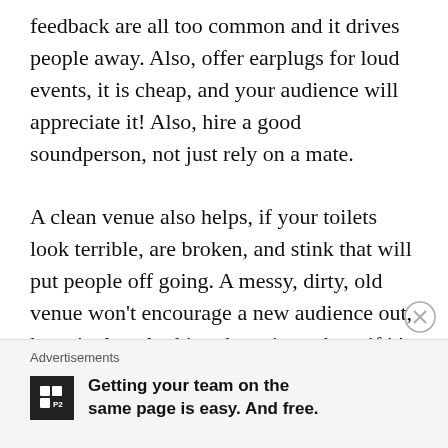feedback are all too common and it drives people away. Also, offer earplugs for loud events, it is cheap, and your audience will appreciate it! Also, hire a good soundperson, not just rely on a mate.

A clean venue also helps, if your toilets look terrible, are broken, and stink that will put people off going. A messy, dirty, old venue won't encourage a new audience out, keep it clean looking, keep it modern, if it's a music venue, make it the focus of the venue, not a side attraction, especially if you are booking
Advertisements
Getting your team on the same page is easy. And free.